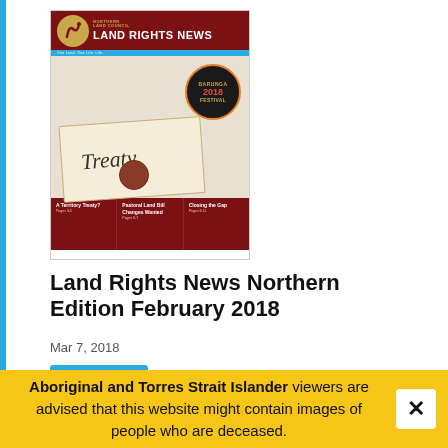[Figure (photo): Magazine cover of Land Rights News Northern Edition February 2018, featuring an image of an envelope with the word 'Treaty' written on it, a wax seal, and a Barunga Festival badge. The cover header shows the Northern Land Council branding and the footer shows section teasers: 'A Territory Treaty? Pages 3-5', 'Pastoral Land Bill Changes Wanted Pages 6-7', 'Closing the Gap Pages 8-11']
Land Rights News Northern Edition February 2018
Mar 7, 2018
Read more
Aboriginal and Torres Strait Islander viewers are advised that this website might contain images of people who are deceased.